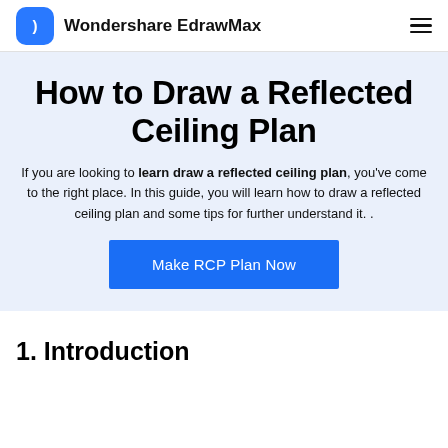Wondershare EdrawMax
How to Draw a Reflected Ceiling Plan
If you are looking to learn draw a reflected ceiling plan, you've come to the right place. In this guide, you will learn how to draw a reflected ceiling plan and some tips for further understand it. .
[Figure (other): Blue CTA button labeled 'Make RCP Plan Now']
1. Introduction